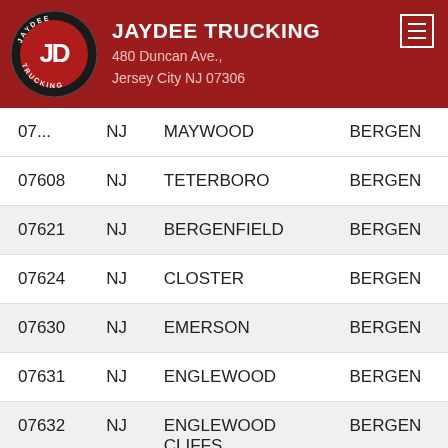JAYDEE TRUCKING
480 Duncan Ave.,
Jersey City NJ 07306
| ZIP | State | City | County |
| --- | --- | --- | --- |
| 07... | NJ | MAYWOOD | BERGEN |
| 07608 | NJ | TETERBORO | BERGEN |
| 07621 | NJ | BERGENFIELD | BERGEN |
| 07624 | NJ | CLOSTER | BERGEN |
| 07630 | NJ | EMERSON | BERGEN |
| 07631 | NJ | ENGLEWOOD | BERGEN |
| 07632 | NJ | ENGLEWOOD CLIFFS | BERGEN |
| 07643 | NJ | LITTLE FERRY | BERGEN |